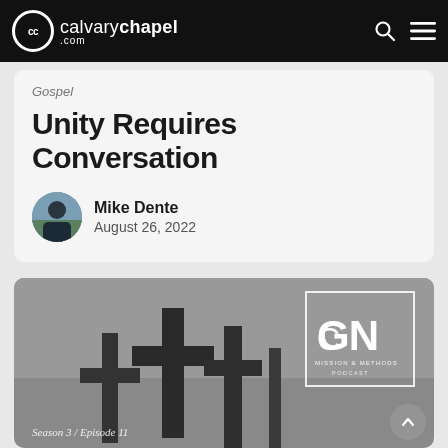calvarychapel.com
Gospel
Unity Requires Conversation
Mike Dente
August 26, 2022
[Figure (photo): CGN Mission & Methods Podcast artwork showing dark silhouette cross shapes against a grey background, with CGN logo box in upper right and 'Season 3 / Episode 11' text at bottom left]